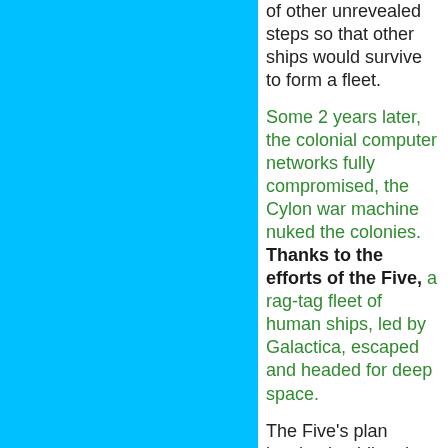of other unrevealed steps so that other ships would survive to form a fleet.
Some 2 years later, the colonial computer networks fully compromised, the Cylon war machine nuked the colonies. Thanks to the efforts of the Five, a rag-tag fleet of human ships, led by Galactica, escaped and headed for deep space.
The Five's plan involved guiding the remnants of humanity back to Earth, the human homeworld. This would repeat the cycle they believed in and nurtured. First, however, they guided